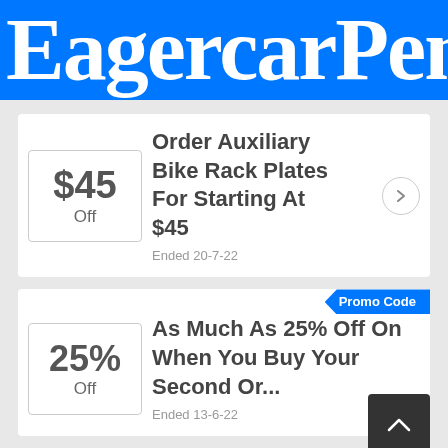EagercarPent
$45 Off
Order Auxiliary Bike Rack Plates For Starting At $45
Ended 20-7-22
Promo Code
25% Off
As Much As 25% Off On When You Buy Your Second Or...
Ended 13-6-22